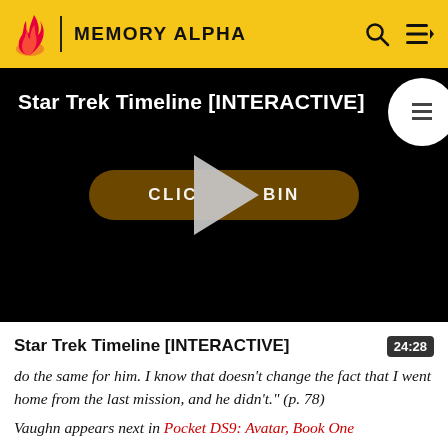MEMORY ALPHA
[Figure (screenshot): Video player with black background showing 'Star Trek Timeline [INTERACTIVE]' title in white text, a dark gold rounded pill button reading 'CLICK TO BEGIN', and a large grey play triangle overlaid on the button. Top-right has a white circular button with a list/document icon.]
Star Trek Timeline [INTERACTIVE]
do the same for him. I know that doesn't change the fact that I went home from the last mission, and he didn't." (p. 78)
Vaughn appears next in Pocket DS9: Avatar, Book One